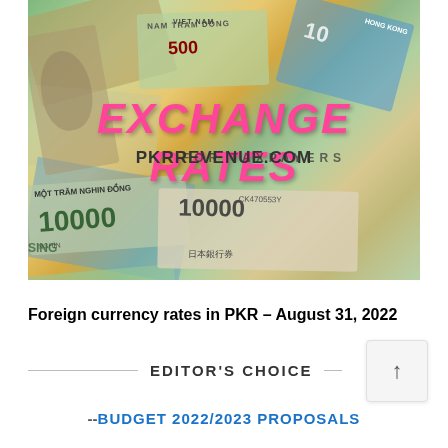[Figure (photo): Photo collage of various foreign currency banknotes including Vietnamese Dong, Hong Kong Dollar, Japanese Yen, Singapore Dollar, and others. Overlaid text reads 'EXCHANGE RATES' in large pink bold italic letters, with 'PKRREVENUE.COM' and 'FOR TAXPAYERS' in dark text below.]
Foreign currency rates in PKR – August 31, 2022
EDITOR'S CHOICE
--BUDGET 2022/2023 PROPOSALS